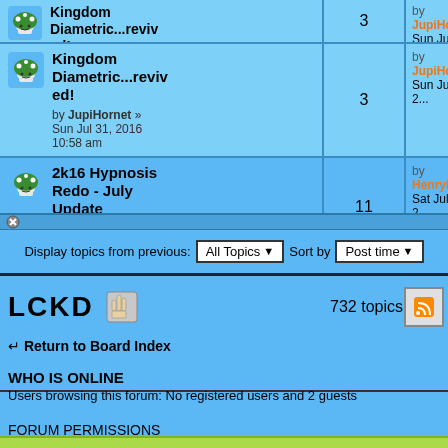| Topic | Replies | Views | Last post |
| --- | --- | --- | --- |
| Kingdom Diametric...revived!
by JupiHornet » Sun Jul 31, 2016 10:58 am | 3 | 3389 | by JupiHornet
Sun Jul 31, 2... |
| 2k16 Hypnosis Redo - July Update
by Enjl » Mon Apr 11, 2016 3:41 pm | 11 | 6650 | by HenryRic...
Sat Jul 30, 2... |
Display topics from previous: All Topics ▼  Sort by Post time ▼
LCKD  732 topics
↩ Return to Board Index
WHO IS ONLINE
Users browsing this forum: No registered users and 2 guests
FORUM PERMISSIONS
You cannot post new topics in this forum
You cannot reply to topics in this forum
You cannot edit your posts in this forum
You cannot delete your posts in this forum